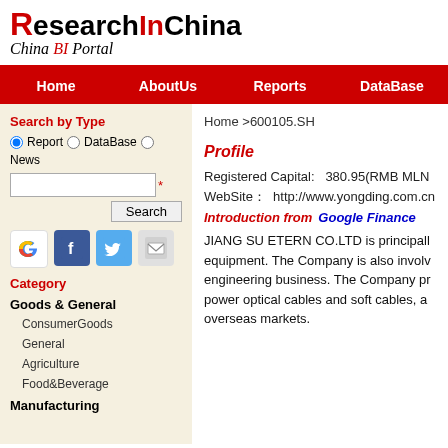[Figure (logo): ResearchInChina logo with red R, black text, and China BI Portal tagline in italic]
Home  AboutUs  Reports  DataBase
Search by Type
Report  DataBase  News
Search
Category
Goods & General
ConsumerGoods
General
Agriculture
Food&Beverage
Manufacturing
Home >600105.SH
Profile
Registered Capital:   380.95(RMB MLN
WebSite：  http://www.yongding.com.cn
Introduction from   Google Finance
JIANG SU ETERN CO.LTD is principally equipment. The Company is also involv engineering business. The Company pr power optical cables and soft cables, a overseas markets.